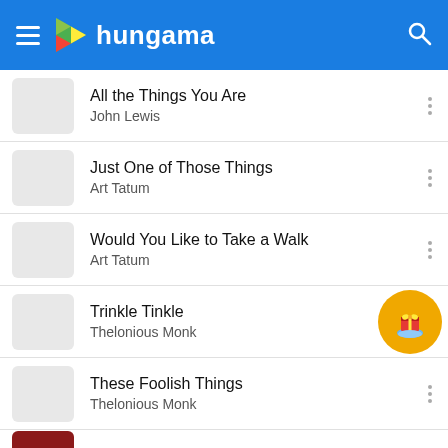hungama
All the Things You Are
John Lewis
Just One of Those Things
Art Tatum
Would You Like to Take a Walk
Art Tatum
Trinkle Tinkle
Thelonious Monk
These Foolish Things
Thelonious Monk
Bemsha Swing